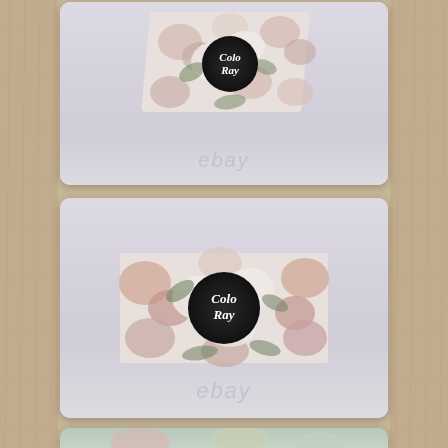[Figure (photo): Product photo card 1: Close-up side view of a floral patterned box/palette with black circular ColoBay logo, on light gray-purple background, with ebay watermark]
[Figure (photo): Product photo card 2: Front view of a floral patterned rectangular box with black circular ColoBay logo centered, on light gray-purple background, with ebay watermark]
[Figure (photo): Product photo card 3: Partial view of product, cut off at bottom of page]